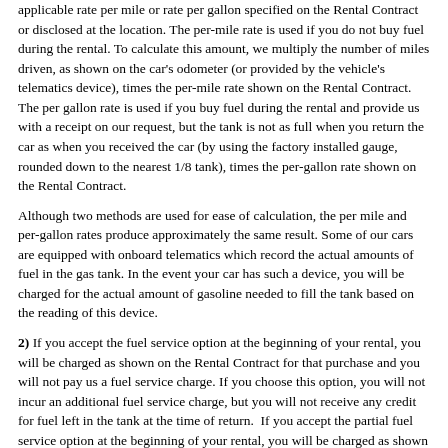applicable rate per mile or rate per gallon specified on the Rental Contract or disclosed at the location. The per-mile rate is used if you do not buy fuel during the rental. To calculate this amount, we multiply the number of miles driven, as shown on the car's odometer (or provided by the vehicle's telematics device), times the per-mile rate shown on the Rental Contract. The per gallon rate is used if you buy fuel during the rental and provide us with a receipt on our request, but the tank is not as full when you return the car as when you received the car (by using the factory installed gauge, rounded down to the nearest 1/8 tank), times the per-gallon rate shown on the Rental Contract.
Although two methods are used for ease of calculation, the per mile and per-gallon rates produce approximately the same result. Some of our cars are equipped with onboard telematics which record the actual amounts of fuel in the gas tank. In the event your car has such a device, you will be charged for the actual amount of gasoline needed to fill the tank based on the reading of this device.
2) If you accept the fuel service option at the beginning of your rental, you will be charged as shown on the Rental Contract for that purchase and you will not pay us a fuel service charge. If you choose this option, you will not incur an additional fuel service charge, but you will not receive any credit for fuel left in the tank at the time of return.  If you accept the partial fuel service option at the beginning of your rental, you will be charged as shown on the